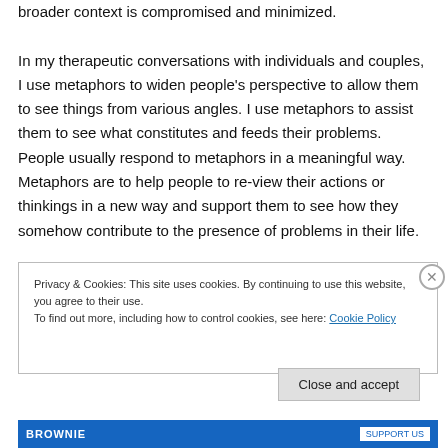broader context is compromised and minimized.

In my therapeutic conversations with individuals and couples, I use metaphors to widen people's perspective to allow them to see things from various angles. I use metaphors to assist them to see what constitutes and feeds their problems. People usually respond to metaphors in a meaningful way. Metaphors are to help people to re-view their actions or thinkings in a new way and support them to see how they somehow contribute to the presence of problems in their life.
Privacy & Cookies: This site uses cookies. By continuing to use this website, you agree to their use.
To find out more, including how to control cookies, see here: Cookie Policy
Close and accept